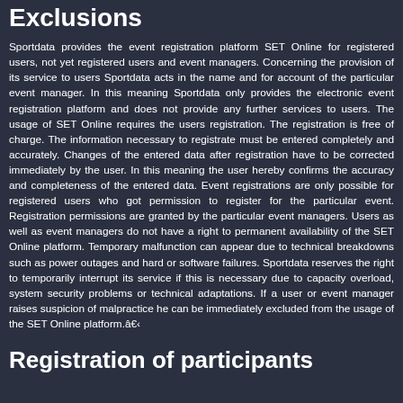Exclusions
Sportdata provides the event registration platform SET Online for registered users, not yet registered users and event managers. Concerning the provision of its service to users Sportdata acts in the name and for account of the particular event manager. In this meaning Sportdata only provides the electronic event registration platform and does not provide any further services to users. The usage of SET Online requires the users registration. The registration is free of charge. The information necessary to registrate must be entered completely and accurately. Changes of the entered data after registration have to be corrected immediately by the user. In this meaning the user hereby confirms the accuracy and completeness of the entered data. Event registrations are only possible for registered users who got permission to register for the particular event. Registration permissions are granted by the particular event managers. Users as well as event managers do not have a right to permanent availability of the SET Online platform. Temporary malfunction can appear due to technical breakdowns such as power outages and hard or software failures. Sportdata reserves the right to temporarily interrupt its service if this is necessary due to capacity overload, system security problems or technical adaptations. If a user or event manager raises suspicion of malpractice he can be immediately excluded from the usage of the SET Online platform.â€‹
Registration of participants